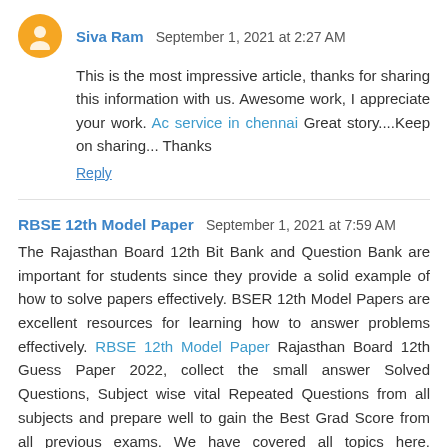Siva Ram  September 1, 2021 at 2:27 AM
This is the most impressive article, thanks for sharing this information with us. Awesome work, I appreciate your work. Ac service in chennai Great story....Keep on sharing... Thanks
Reply
RBSE 12th Model Paper  September 1, 2021 at 7:59 AM
The Rajasthan Board 12th Bit Bank and Question Bank are important for students since they provide a solid example of how to solve papers effectively. BSER 12th Model Papers are excellent resources for learning how to answer problems effectively. RBSE 12th Model Paper Rajasthan Board 12th Guess Paper 2022, collect the small answer Solved Questions, Subject wise vital Repeated Questions from all subjects and prepare well to gain the Best Grad Score from all previous exams. We have covered all topics here. Question Papers for Exams Download
Reply